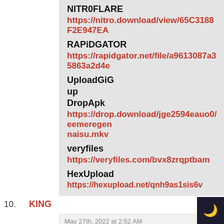NITR0FLARE
https://nitro.download/view/65C3188F2E947EA
RAPiDGATOR
https://rapidgator.net/file/a9613087a35863a2d4e
UploadGiG
up
DropApk
https://drop.download/jge2594eauo0/eemeregen naisu.mkv
veryfiles
https://veryfiles.com/bvx8zrqptbam
HexUpload
https://hexupload.net/qnh9as1sis6v
10. KING
May 27th, 2022 at 2:52 AM
================================================